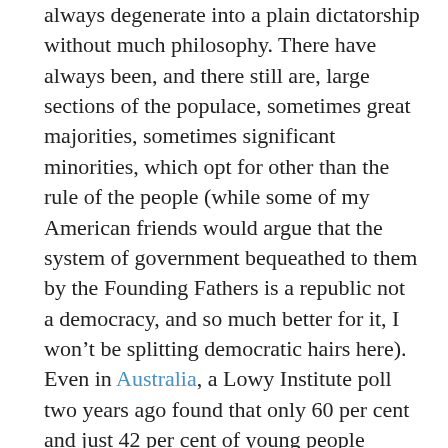always degenerate into a plain dictatorship without much philosophy. There have always been, and there still are, large sections of the populace, sometimes great majorities, sometimes significant minorities, which opt for other than the rule of the people (while some of my American friends would argue that the system of government bequeathed to them by the Founding Fathers is a republic not a democracy, and so much better for it, I won't be splitting democratic hairs here). Even in Australia, a Lowy Institute poll two years ago found that only 60 per cent and just 42 per cent of young people believe that “democracy is preferable to any other kind of government”, though it’s not certain what other kinds of government would actually be preferable to that 40 per cent. One has to be careful not to read too much into people’s general disillusionment with and disengagement from everyday party politics.